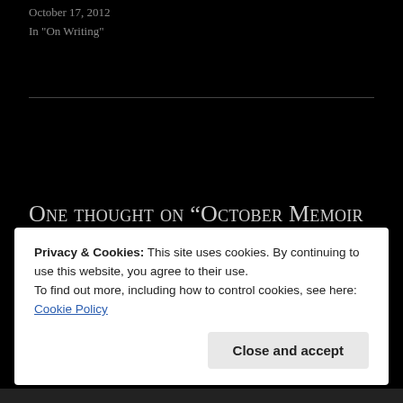October 17, 2012
In "On Writing"
One thought on “October Memoir and Backstory blog challenge”
Privacy & Cookies: This site uses cookies. By continuing to use this website, you agree to their use.
To find out more, including how to control cookies, see here:
Cookie Policy
Close and accept